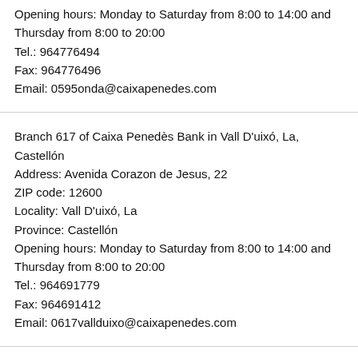Opening hours: Monday to Saturday from 8:00 to 14:00 and Thursday from 8:00 to 20:00
Tel.: 964776494
Fax: 964776496
Email: 0595onda@caixapenedes.com
Branch 617 of Caixa Penedès Bank in Vall D'uixó, La, Castellón
Address: Avenida Corazon de Jesus, 22
ZIP code: 12600
Locality: Vall D'uixó, La
Province: Castellón
Opening hours: Monday to Saturday from 8:00 to 14:00 and Thursday from 8:00 to 20:00
Tel.: 964691779
Fax: 964691412
Email: 0617vallduixo@caixapenedes.com
Branch 623 of Caixa Penedès Bank in Vila-real, Castellón
Address: Avenida Pio Xii, 31
ZIP code: 12540